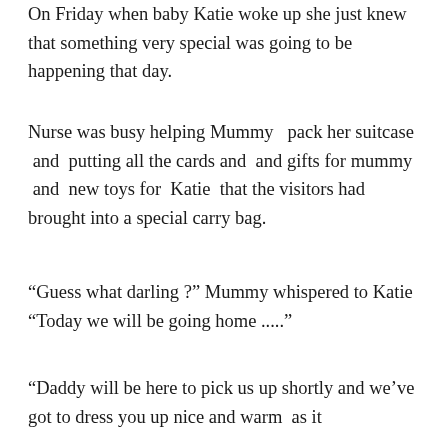On Friday when baby Katie woke up she just knew that something very special was going to be happening that day.
Nurse was busy helping Mummy  pack her suitcase  and  putting all the cards and  and gifts for mummy  and  new toys for  Katie  that the visitors had brought into a special carry bag.
“Guess what darling ?” Mummy whispered to Katie “Today we will be going home .....”
“Daddy will be here to pick us up shortly and we’ve got to dress you up nice and warm  as it